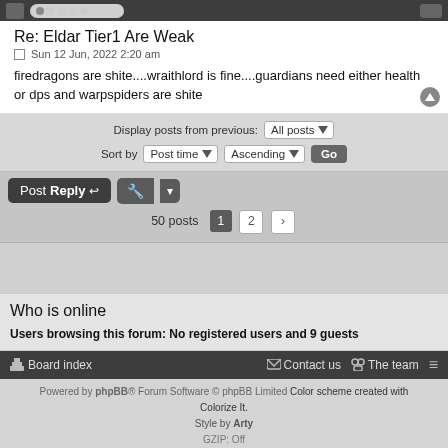Re: Eldar Tier1 Are Weak
Sun 12 Jun, 2022 2:20 am
firedragons are shite....wraithlord is fine....guardians need either health or dps and warpspiders are shite
Display posts from previous: All posts
Sort by Post time Ascending Go
Post Reply   🔧  ▼
50 posts  1  2  >
Who is online
Users browsing this forum: No registered users and 9 guests
Board index   Contact us   The team   ≡
Powered by phpBB® Forum Software © phpBB Limited Color scheme created with Colorize It.
Style by Arty
GZIP: Off